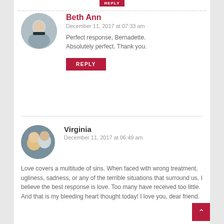Beth Ann
December 11, 2017 at 07:33 am
Perfect response, Bernadette. Absolutely perfect. Thank you.
REPLY
Virginia
December 11, 2017 at 06:49 am
Love covers a multitude of sins. When faced with wrong treatment, ugliness, sadness, or any of the terrible situations that surround us, I believe the best response is love. Too many have received too little.
And that is my bleeding heart thought today! I love you, dear friend.